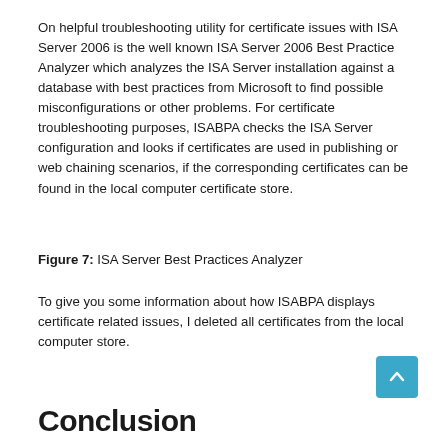On helpful troubleshooting utility for certificate issues with ISA Server 2006 is the well known ISA Server 2006 Best Practice Analyzer which analyzes the ISA Server installation against a database with best practices from Microsoft to find possible misconfigurations or other problems. For certificate troubleshooting purposes, ISABPA checks the ISA Server configuration and looks if certificates are used in publishing or web chaining scenarios, if the corresponding certificates can be found in the local computer certificate store.
Figure 7: ISA Server Best Practices Analyzer
To give you some information about how ISABPA displays certificate related issues, I deleted all certificates from the local computer store.
Conclusion